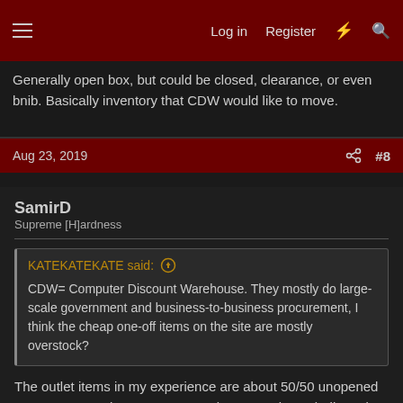Log in  Register
Generally open box, but could be closed, clearance, or even bnib. Basically inventory that CDW would like to move.
Aug 23, 2019  #8
SamirD
Supreme [H]ardness
KATEKATEKATE said: CDW= Computer Discount Warehouse. They mostly do large-scale government and business-to-business procurement, I think the cheap one-off items on the site are mostly overstock?
The outlet items in my experience are about 50/50 unopened returns or open box returns. I've also gotten items bnib, so it varies. But this isn't Best Buy or Microcenter so it's not consumers buying stuff but usually professional companies with IT departments, so returns are usually top notch with everything there. Oh, and I forgot to add that all items are